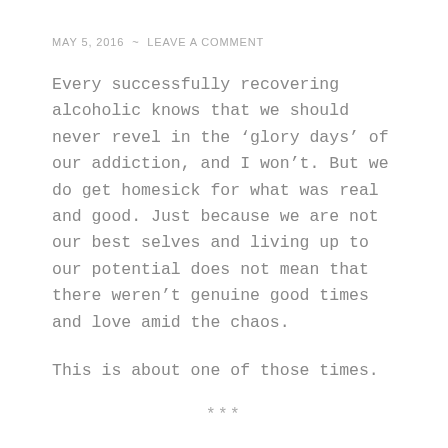MAY 5, 2016 ~ LEAVE A COMMENT
Every successfully recovering alcoholic knows that we should never revel in the ‘glory days’ of our addiction, and I won’t. But we do get homesick for what was real and good. Just because we are not our best selves and living up to our potential does not mean that there weren’t genuine good times and love amid the chaos.
This is about one of those times.
***
It’s a cool, spring morning.  I feed our horses and then steal a moment of serenity for myself.  As I look